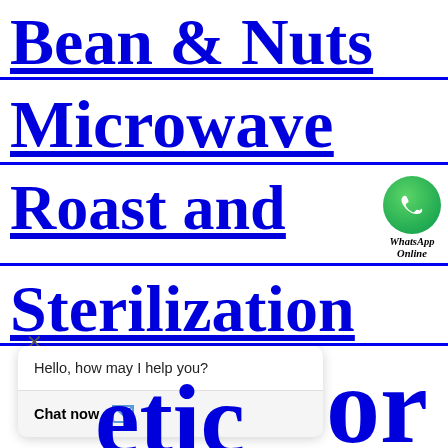Bean & Nuts
Microwave
Roast and
Sterilization
[Figure (illustration): WhatsApp Online green phone icon with label 'WhatsApp Online']
Hello, how may I help you?
Chat now
etic
or